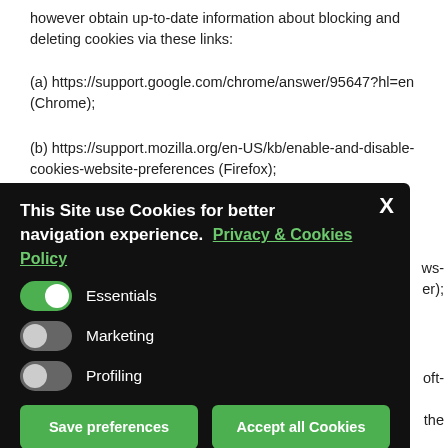however obtain up-to-date information about blocking and deleting cookies via these links:
(a) https://support.google.com/chrome/answer/95647?hl=en (Chrome);
(b) https://support.mozilla.org/en-US/kb/enable-and-disable-cookies-website-preferences (Firefox);
(c) http://www.opera.com/help/tutorials/security/cookies/ (Opera);
[Figure (screenshot): Cookie consent popup overlay with black background showing: title 'This Site use Cookies for better navigation experience. Privacy & Cookies Policy', toggles for Essentials (on), Marketing (off), Profiling (off), and two green buttons 'Save preferences' and 'Accept all Cookies'. An X close button is in the top right.]
features on our websites.